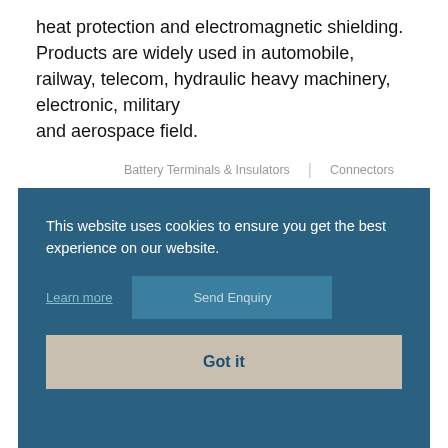heat protection and electromagnetic shielding. Products are widely used in automobile, railway, telecom, hydraulic heavy machinery, electronic, military and aerospace field.
Battery Terminals & Insulators
Connectors
Cable Systems
Power Connectors
Contact
This website uses cookies to ensure you get the best experience on our website.
Learn more
Send Enquiry
Got it